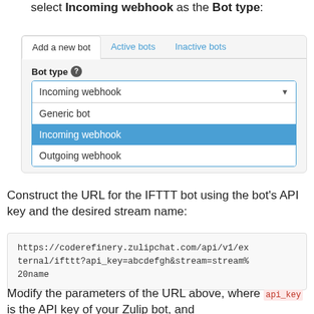create a bot for IFTTT. Make sure that you select Incoming webhook as the Bot type:
[Figure (screenshot): Screenshot of Zulip bot settings UI showing 'Add a new bot', 'Active bots', 'Inactive bots' tabs, and a dropdown for Bot type with options: Generic bot, Incoming webhook (selected/highlighted in blue), Outgoing webhook]
Construct the URL for the IFTTT bot using the bot's API key and the desired stream name:
https://coderefinery.zulipchat.com/api/v1/external/ifttt?api_key=abcdefgh&stream=stream%20name
Modify the parameters of the URL above, where api_key is the API key of your Zulip bot, and